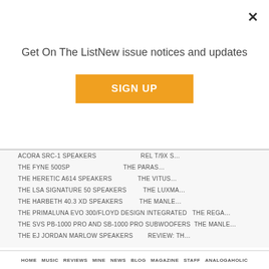Get On The ListNew issue notices and updates
SIGN UP
RECENT REVIEWS
ACORA SRC-1 SPEAKERS
THE FYNE 500SP
THE HERETIC A614 SPEAKERS
THE LSA SIGNATURE 50 SPEAKERS
THE HARBETH 40.3 XD SPEAKERS
THE PRIMALUNA EVO 300/FLOYD DESIGN INTEGRATED
THE SVS PB-1000 PRO AND SB-1000 PRO SUBWOOFERS
THE EJ JORDAN MARLOW SPEAKERS
HOME  MUSIC  REVIEWS  MINE  NEWS  BLOG  MAGAZINE  STAFF  ANALOGAHOLIC